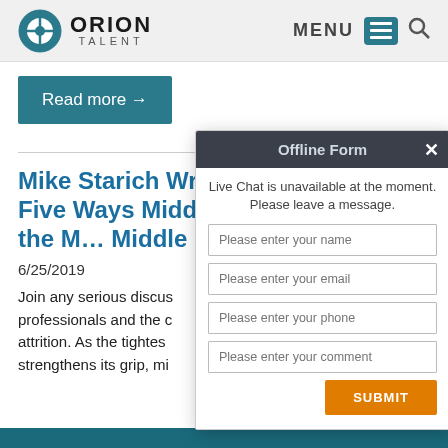ORION TALENT — MENU
Read more →
Mike Starich Writes about the Five Ways Middle M... Talent for the M... Middle Market...
6/25/2019
Join any serious discus... professionals and the c... attrition. As the tightes... strengthens its grip, mi...
[Figure (screenshot): Offline Form overlay with Live Chat message and input fields for name, email, phone, comment, and a Submit button]